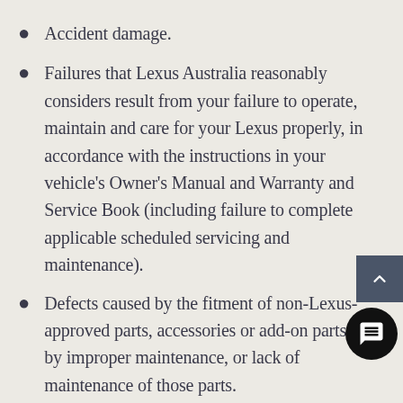Accident damage.
Failures that Lexus Australia reasonably considers result from your failure to operate, maintain and care for your Lexus properly, in accordance with the instructions in your vehicle's Owner's Manual and Warranty and Service Book (including failure to complete applicable scheduled servicing and maintenance).
Defects caused by the fitment of non-Lexus-approved parts, accessories or add-on parts, or by improper maintenance, or lack of maintenance of those parts.
Scratches or surface rust caused by normal we…